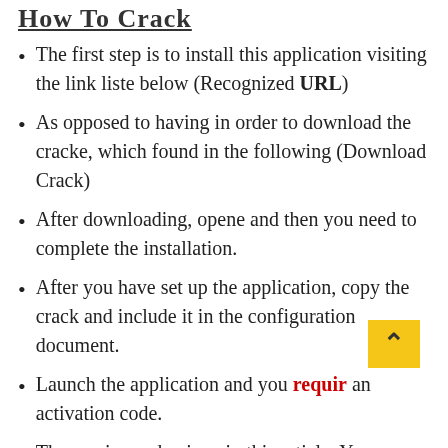How To Crack
The first step is to install this application visiting the link liste below (Recognized URL)
As opposed to having in order to download the cracke, which found in the following (Download Crack)
After downloading, opene and then you need to complete the installation.
After you have set up the application, copy the crack and include it in the configuration document.
Launch the application and you require an activation code.
The service code given in this article. You